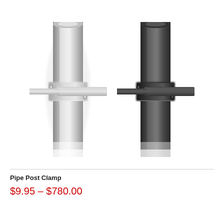[Figure (photo): Two pipe post clamps side by side — one silver/aluminum finish on the left and one dark/black finish on the right. Each clamp shows a cylindrical post with a horizontal cross-bar clamp mechanism.]
Pipe Post Clamp
$9.95 – $780.00